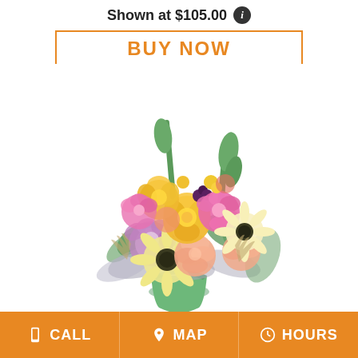Shown at $105.00
BUY NOW
[Figure (photo): A floral arrangement in a green vase featuring yellow roses, pink/purple lisianthus, peach carnations, cream gerbera daisies, and mixed greenery and filler foliage on a white background.]
CALL   MAP   HOURS